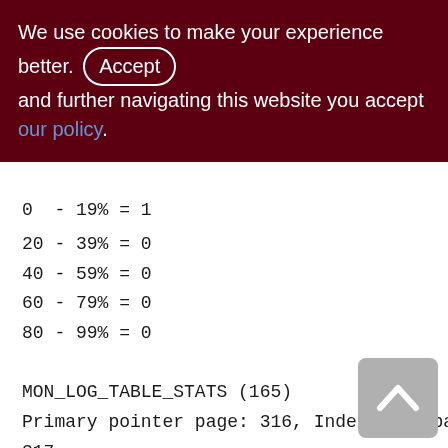We use cookies to make your experience better. By accepting and further navigating this website you accept our policy.
0 - 19% = 1
20 - 39% = 0
40 - 59% = 0
60 - 79% = 0
80 - 99% = 0
MON_LOG_TABLE_STATS (165)
Primary pointer page: 316, Index root page: 317
Average record length: 0.00, total records: 0
Average version length: 0.00, total versions: 0, max versions: 0